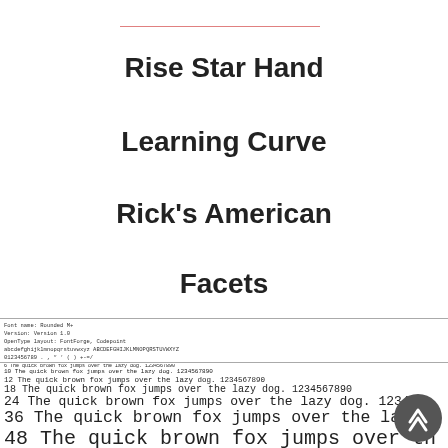Rise Star Hand
Learning Curve
Rick's American
Facets
Font name: Rounded M+
Version: Version 1.0
OpenType layout: FontForge, Codepoint
abcdefghijklmnopqrstuvwxyz ABCDEFGHIJKLMNOPQRSTUVWXYZ
0123456789 . , " ' ( ) +-=/
The quick brown fox jumps over the lazy dog. 1234567890
The quick brown fox jumps over the lazy dog. 1234567890
The quick brown fox jumps over the lazy dog. 1234567890
The quick brown fox jumps over the lazy dog. 1234567890
The quick brown fox jumps over the lazy dog. 123456
The quick brown fox jumps over the lazy
The quick brown fox jumps over th